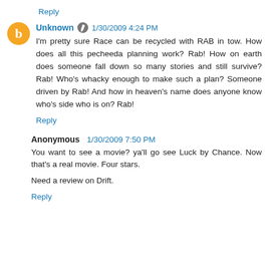Reply
Unknown 1/30/2009 4:24 PM
I'm pretty sure Race can be recycled with RAB in tow. How does all this pecheeda planning work? Rab! How on earth does someone fall down so many stories and still survive? Rab! Who's whacky enough to make such a plan? Someone driven by Rab! And how in heaven's name does anyone know who's side who is on? Rab!
Reply
Anonymous 1/30/2009 7:50 PM
You want to see a movie? ya'll go see Luck by Chance. Now that's a real movie. Four stars.

Need a review on Drift.
Reply